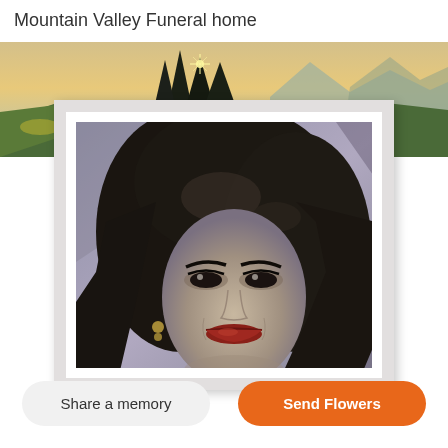Mountain Valley Funeral home
[Figure (photo): Scenic mountain landscape banner with trees and mountains in the background at dusk, used as a decorative header image for the funeral home page.]
[Figure (photo): Vintage black-and-white close-up portrait photograph of a woman with dark voluminous hair, wearing earrings, displayed within a white picture frame with shadow.]
Share a memory
Send Flowers